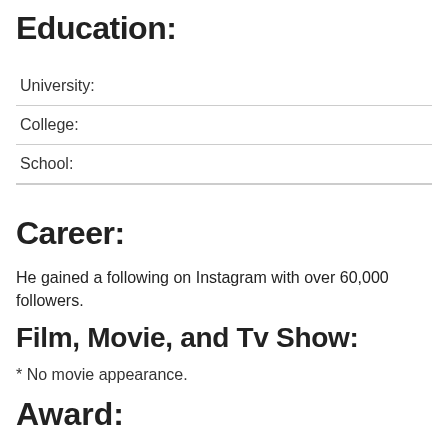Education:
University:
College:
School:
Career:
He gained a following on Instagram with over 60,000 followers.
Film, Movie, and Tv Show:
* No movie appearance.
Award: